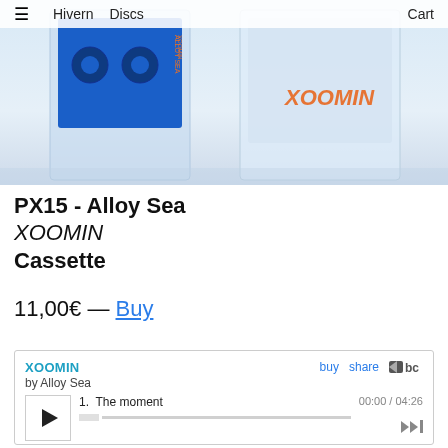≡  Hivern  Discs  Cart
[Figure (photo): Product photo of two cassette tapes in clear plastic cases on a light blue background. Left cassette has a blue body with orange text. Right cassette case shows 'XOOMIN' in orange italic text on a light surface.]
PX15 - Alloy Sea
XOOMIN
Cassette
11,00€ — Buy
[Figure (screenshot): Bandcamp embedded music player showing XOOMIN by Alloy Sea. Track 1: The moment, 00:00 / 04:26. Player has play button, progress bar, buy and share links, and Bandcamp logo.]